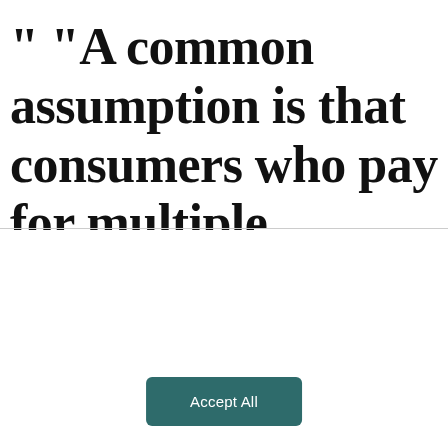“ “A common assumption is that consumers who pay for multiple subscription OTT video
This website stores cookies on your computer. These cookies are used to collect information about how you interact with our website and allow us to remember you. We use this information in order to improve and customize your browsing experience and for analytics and metrics about our visitors both on this website and other media. To find out more about the cookies we use, see our Privacy Policy
Accept All